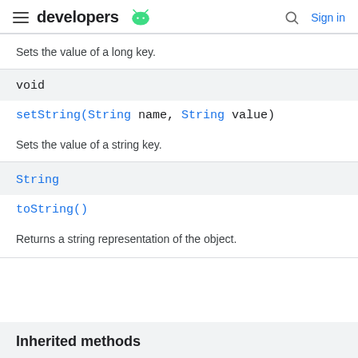developers [android logo] | Search | Sign in
Sets the value of a long key.
void
setString(String name, String value)
Sets the value of a string key.
String
toString()
Returns a string representation of the object.
Inherited methods